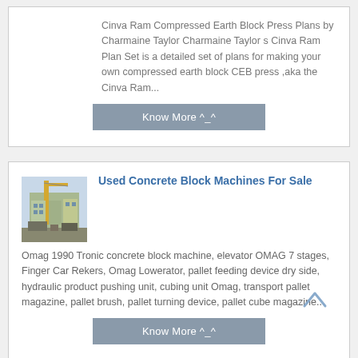Cinva Ram Compressed Earth Block Press Plans by Charmaine Taylor Charmaine Taylor s Cinva Ram Plan Set is a detailed set of plans for making your own compressed earth block CEB press ,aka the Cinva Ram...
Know More ^_^
[Figure (photo): Photo of used concrete block machine/industrial equipment outdoors]
Used Concrete Block Machines For Sale
Omag 1990 Tronic concrete block machine, elevator OMAG 7 stages, Finger Car Rekers, Omag Lowerator, pallet feeding device dry side, hydraulic product pushing unit, cubing unit Omag, transport pallet magazine, pallet brush, pallet turning device, pallet cube magazine...